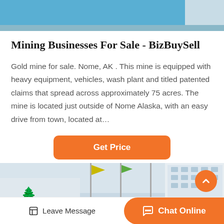[Figure (photo): Top portion showing blue mining equipment or machinery on a surface.]
Mining Businesses For Sale - BizBuySell
Gold mine for sale. Nome, AK . This mine is equipped with heavy equipment, vehicles, wash plant and titled patented claims that spread across approximately 75 acres. The mine is located just outside of Nome Alaska, with an easy drive from town, located at…
[Figure (other): Get Price orange button]
[Figure (photo): Bottom photo showing flagpoles with flags and a multi-story industrial or office building against a light sky.]
Leave Message   Chat Online